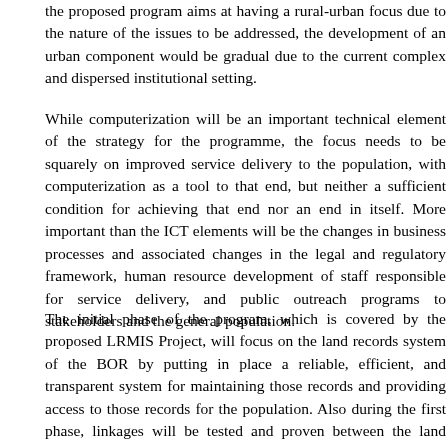the proposed program aims at having a rural-urban focus due to the nature of the issues to be addressed, the development of an urban component would be gradual due to the current complex and dispersed institutional setting.
While computerization will be an important technical element of the strategy for the programme, the focus needs to be squarely on improved service delivery to the population, with computerization as a tool to that end, but neither a sufficient condition for achieving that end nor an end in itself. More important than the ICT elements will be the changes in business processes and associated changes in the legal and regulatory framework, human resource development of staff responsible for service delivery, and public outreach programs to stakeholders and the general population.
The initial phase of the program, which is covered by the proposed LRMIS Project, will focus on the land records system of the BOR by putting in place a reliable, efficient, and transparent system for maintaining those records and providing access to those records for the population. Also during the first phase, linkages will be tested and proven between the land records system and the system of registration of deeds, and piloting of digitization of spatial records will be carried out. As